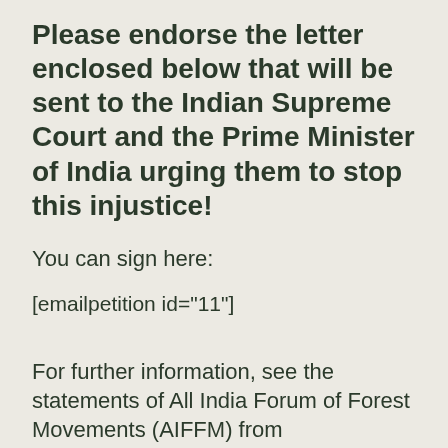Please endorse the letter enclosed below that will be sent to the Indian Supreme Court and the Prime Minister of India urging them to stop this injustice!
You can sign here:
[emailpetition id="11"]
For further information, see the statements of All India Forum of Forest Movements (AIFFM) from